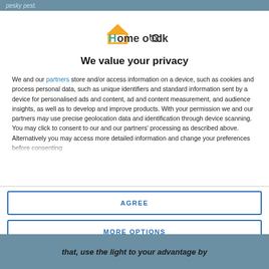pesky pest.
[Figure (logo): Home o'Clock logo with orange house icon and teal/green H letter]
We value your privacy
We and our partners store and/or access information on a device, such as cookies and process personal data, such as unique identifiers and standard information sent by a device for personalised ads and content, ad and content measurement, and audience insights, as well as to develop and improve products. With your permission we and our partners may use precise geolocation data and identification through device scanning. You may click to consent to our and our partners' processing as described above. Alternatively you may access more detailed information and change your preferences before consenting
AGREE
MORE OPTIONS
that, use the light to your advantage by